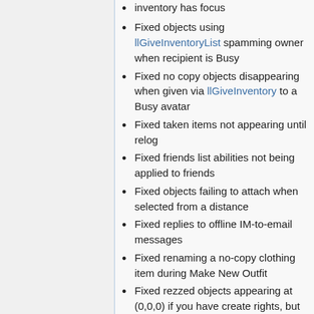inventory has focus
Fixed objects using llGiveInventoryList spamming owner when recipient is Busy
Fixed no copy objects disappearing when given via llGiveInventory to a Busy avatar
Fixed taken items not appearing until relog
Fixed friends list abilities not being applied to friends
Fixed objects failing to attach when selected from a distance
Fixed replies to offline IM-to-email messages
Fixed renaming a no-copy clothing item during Make New Outfit
Fixed rezzed objects appearing at (0,0,0) if you have create rights, but are not wearing your title